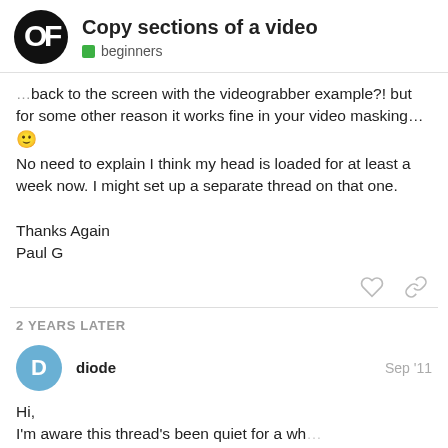Copy sections of a video — beginners
back to the screen with the videograbber example?! but for some other reason it works fine in your video masking… 🙂
No need to explain I think my head is loaded for at least a week now. I might set up a separate thread on that one.

Thanks Again
Paul G
2 YEARS LATER
diode — Sep '11
Hi,
I'm aware this thread's been quiet for a wh… quite a few references to the subsection fu… the x to y interested …